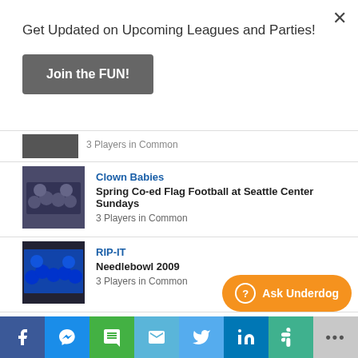Get Updated on Upcoming Leagues and Parties!
Join the FUN!
3 Players in Common
Clown Babies
Spring Co-ed Flag Football at Seattle Center Sundays
3 Players in Common
RIP-IT
Needlebowl 2009
3 Players in Common
RIP-IT
Winter Co-ed Flag Football at Juanita HS Tuesdays
3 Players in Common
Ask Underdog